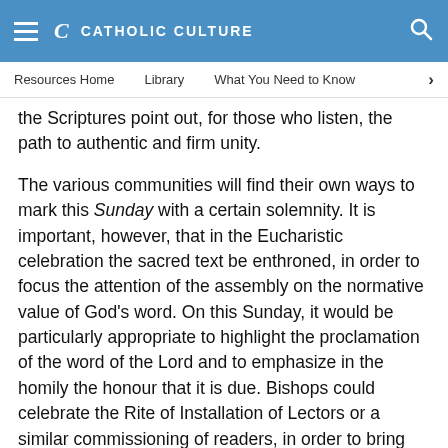CATHOLIC CULTURE
Resources Home   Library   What You Need to Know
the Scriptures point out, for those who listen, the path to authentic and firm unity.
The various communities will find their own ways to mark this Sunday with a certain solemnity. It is important, however, that in the Eucharistic celebration the sacred text be enthroned, in order to focus the attention of the assembly on the normative value of God's word. On this Sunday, it would be particularly appropriate to highlight the proclamation of the word of the Lord and to emphasize in the homily the honour that it is due. Bishops could celebrate the Rite of Installation of Lectors or a similar commissioning of readers, in order to bring out the importance of the proclamation of God's word in the liturgy. In this regard, renewed efforts should